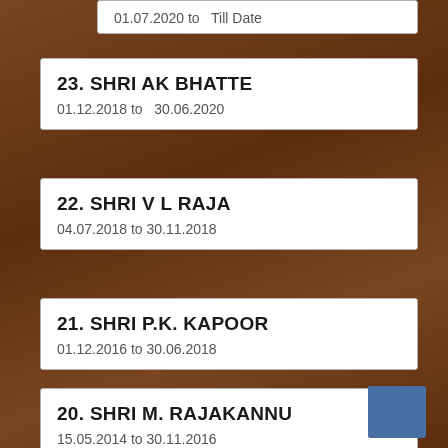01.07.2020 to  Till Date
23. SHRI AK BHATTE
01.12.2018 to  30.06.2020
22. SHRI V L RAJA
04.07.2018 to 30.11.2018
21. SHRI P.K. KAPOOR
01.12.2016 to 30.06.2018
20. SHRI M. RAJAKANNU
15.05.2014 to 30.11.2016